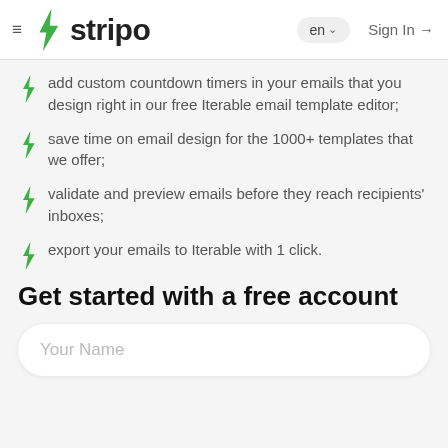≡ stripo  en ∨  Sign In →
add custom countdown timers in your emails that you design right in our free Iterable email template editor;
save time on email design for the 1000+ templates that we offer;
validate and preview emails before they reach recipients' inboxes;
export your emails to Iterable with 1 click.
Get started with a free account
Your Name